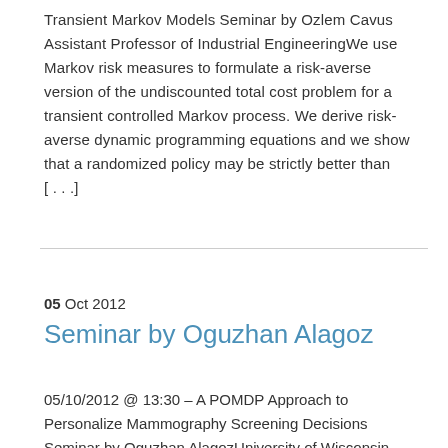Transient Markov Models Seminar by Ozlem Cavus Assistant Professor of Industrial EngineeringWe use Markov risk measures to formulate a risk-averse version of the undiscounted total cost problem for a transient controlled Markov process. We derive risk-averse dynamic programming equations and we show that a randomized policy may be strictly better than [...]
05 Oct 2012
Seminar by Oguzhan Alagoz
05/10/2012 @ 13:30 – A POMDP Approach to Personalize Mammography Screening Decisions Seminar by Oguzhan AlagozUniversity of Wisconsin-Madison Visiting Associate